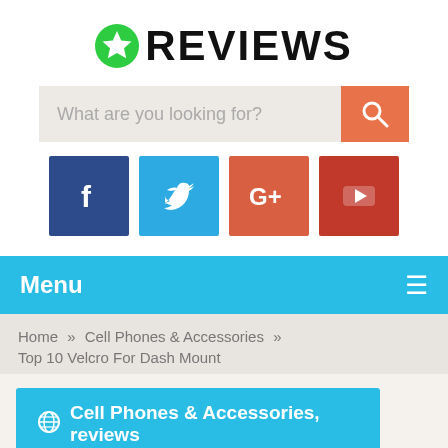[Figure (logo): Green circle with white star icon followed by bold black text REVIEWS]
[Figure (screenshot): Search bar with placeholder 'What are you looking for?' and orange search button with magnifying glass icon]
[Figure (infographic): Four social media icons: Facebook (dark blue), Twitter (light blue), Google+ (orange-red), YouTube (red)]
Menu
Home » Cell Phones & Accessories » Top 10 Velcro For Dash Mount
[Figure (screenshot): Blue button with globe icon and text: Cell Phones & Accessories, reviews]